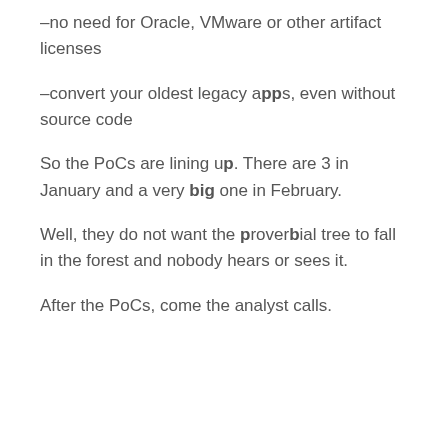–no need for Oracle, VMware or other artifact licenses
–convert your oldest legacy apps, even without source code
So the PoCs are lining up. There are 3 in January and a very big one in February.
Well, they do not want the proverbial tree to fall in the forest and nobody hears or sees it.
After the PoCs, come the analyst calls.